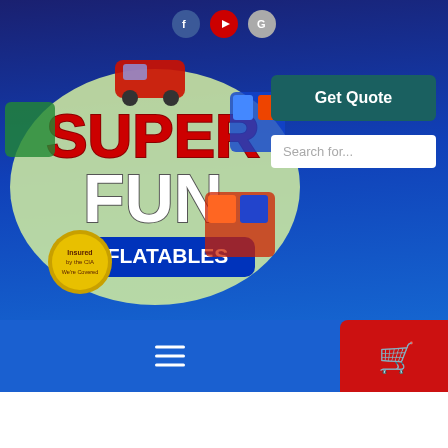[Figure (screenshot): Super Fun Inflatables website header with dark blue gradient background, social media icons (Facebook, YouTube, Google), company logo with colorful inflatables, Get Quote button, and search bar]
[Figure (screenshot): Navigation bar with hamburger menu icon and red shopping cart button]
[Figure (photo): Photo of inflatable bounce house/obstacle course with pirate/viking theme, blue inflatable elements visible]